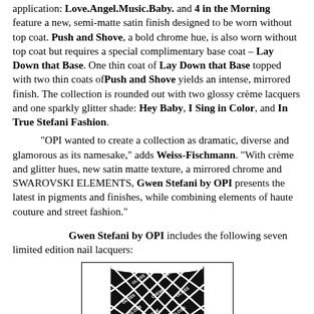application. Love.Angel.Music.Baby. and 4 in the Morning feature a new, semi-matte satin finish designed to be worn without top coat. Push and Shove, a bold chrome hue, is also worn without top coat but requires a special complimentary base coat – Lay Down that Base. One thin coat of Lay Down that Base topped with two thin coats of Push and Shove yields an intense, mirrored finish. The collection is rounded out with two glossy crème lacquers and one sparkly glitter shade: Hey Baby, I Sing in Color, and In True Stefani Fashion.
"OPI wanted to create a collection as dramatic, diverse and glamorous as its namesake," adds Weiss-Fischmann. "With crème and glitter hues, new satin matte texture, a mirrored chrome and SWAROVSKI ELEMENTS, Gwen Stefani by OPI presents the latest in pigments and finishes, while combining elements of haute couture and street fashion."
Gwen Stefani by OPI includes the following seven limited edition nail lacquers:
[Figure (photo): Black and white photo of a nail lacquer bottle with a harlequin diamond pattern featuring text 'GLOSS CREME' repeated across the design.]